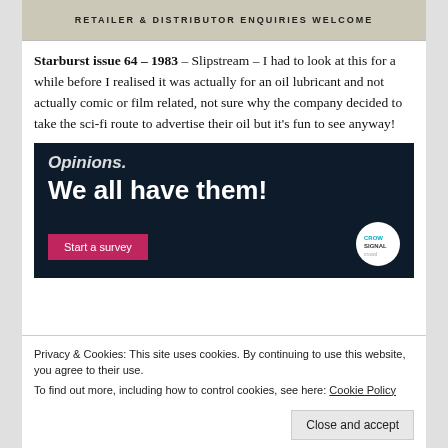[Figure (other): Top portion of a scanned advertisement with text 'RETAILER & DISTRIBUTOR ENQUIRIES WELCOME' on a beige/cream background]
Starburst issue 64 – 1983 – Slipstream – I had to look at this for a while before I realised it was actually for an oil lubricant and not actually comic or film related, not sure why the company decided to take the sci-fi route to advertise their oil but it's fun to see anyway!
[Figure (other): Advertisement banner with dark navy background showing text 'Opinions.' and 'We all have them!' with a pink 'Start a survey' button and a CrowdSignal logo circle on the right]
Privacy & Cookies: This site uses cookies. By continuing to use this website, you agree to their use.
To find out more, including how to control cookies, see here: Cookie Policy
Close and accept